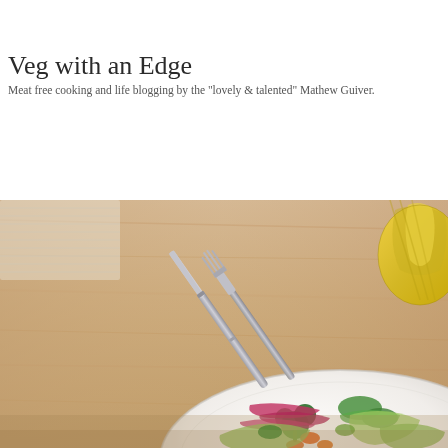Veg with an Edge
Meat free cooking and life blogging by the "lovely & talented" Mathew Guiver.
[Figure (photo): A wooden table with a white plate containing a salad of mixed vegetables including broccoli, red onion, cucumber, carrots, and leafy greens. A fork and knife are crossed on the table, and a star fruit is visible in the upper right corner.]